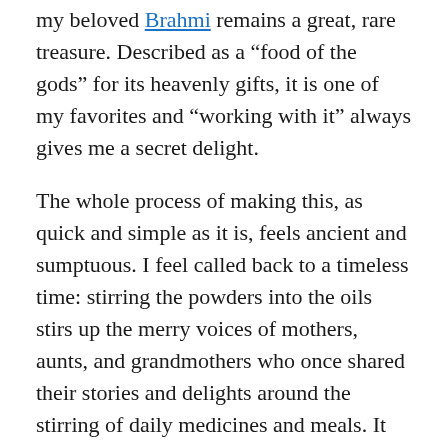my beloved Brahmi remains a great, rare treasure. Described as a “food of the gods” for its heavenly gifts, it is one of my favorites and “working with it” always gives me a secret delight.
The whole process of making this, as quick and simple as it is, feels ancient and sumptuous. I feel called back to a timeless time: stirring the powders into the oils stirs up the merry voices of mothers, aunts, and grandmothers who once shared their stories and delights around the stirring of daily medicines and meals. It helps restore me to myself, and to the whole that we are, all of us alive together in this one world.  It’s a prayer of sorts: something you don’t really talk about, yet is deep and connecting.
It’s holy work, and it’s good medicine